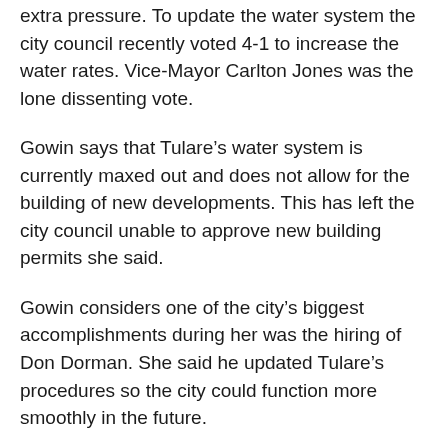extra pressure. To update the water system the city council recently voted 4-1 to increase the water rates. Vice-Mayor Carlton Jones was the lone dissenting vote.
Gowin says that Tulare’s water system is currently maxed out and does not allow for the building of new developments. This has left the city council unable to approve new building permits she said.
Gowin considers one of the city’s biggest accomplishments during her was the hiring of Don Dorman. She said he updated Tulare’s procedures so the city could function more smoothly in the future.
“Now Tulare functions like a real city instead of a small town,” she said.
Gowin said, “I know Tulare, understand Tulare, and want it to be a place where people want to